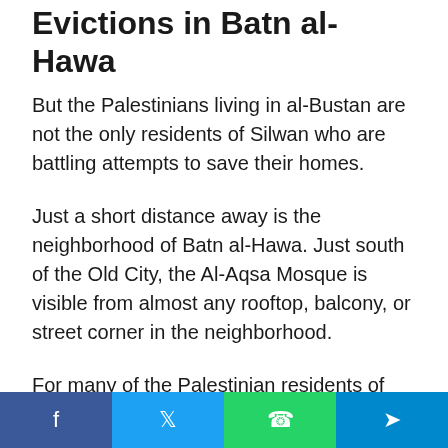Evictions in Batn al-Hawa
But the Palestinians living in al-Bustan are not the only residents of Silwan who are battling attempts to save their homes.
Just a short distance away is the neighborhood of Batn al-Hawa. Just south of the Old City, the Al-Aqsa Mosque is visible from almost any rooftop, balcony, or street corner in the neighborhood.
For many of the Palestinian residents of the neighborhood, however, the views of their historic town and the city of Jerusalem are obstructed by Israeli flags flying on the rooftops and draped over the side of buildings.